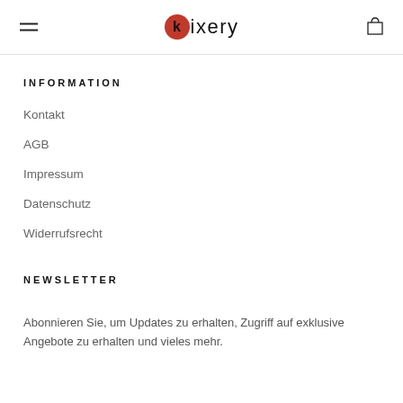kixery
INFORMATION
Kontakt
AGB
Impressum
Datenschutz
Widerrufsrecht
NEWSLETTER
Abonnieren Sie, um Updates zu erhalten, Zugriff auf exklusive Angebote zu erhalten und vieles mehr.